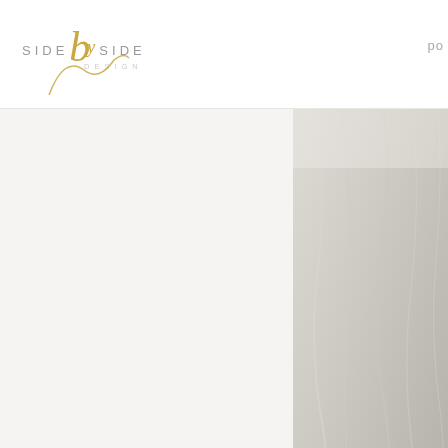SIDE by SIDE DESIGN  po
[Figure (photo): Close-up photo of white fabric or sheer curtain material with soft draping, light beige/cream tones]
... adorable custom b room introducing the Suncreen, and a cute h our swag guru and cre
[Figure (photo): Photo of trees with sunlight filtering through green foliage canopy from below]